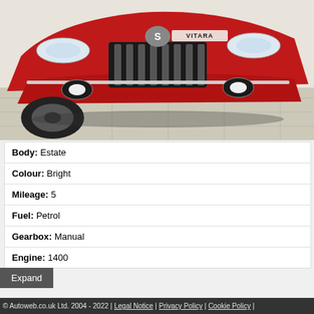[Figure (photo): Front close-up photograph of a red Suzuki Vitara SUV parked indoors on a tiled floor, showing the grille with Suzuki S badge, headlights, and VITARA badge on the bonnet.]
| Body: | Estate |
| Colour: | Bright |
| Mileage: | 5 |
| Fuel: | Petrol |
| Gearbox: | Manual |
| Engine: | 1400 |
Expand
© Autoweb.co.uk Ltd. 2004 - 2022 | Legal Notice | Privacy Policy | Cookie Policy |